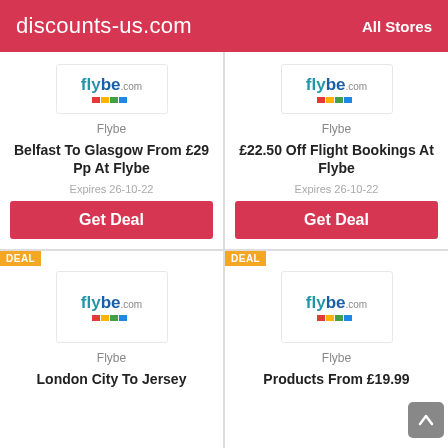discounts-us.com   All Stores
[Figure (logo): Flybe.com logo in card 1]
Flybe
Belfast To Glasgow From £29 Pp At Flybe
Expires 26-10-22
Get Deal
[Figure (logo): Flybe.com logo in card 2]
Flybe
£22.50 Off Flight Bookings At Flybe
Expires 26-10-22
Get Deal
DEAL
[Figure (logo): Flybe.com logo in card 3]
Flybe
London City To Jersey
DEAL
[Figure (logo): Flybe.com logo in card 4]
Flybe
Products From £19.99